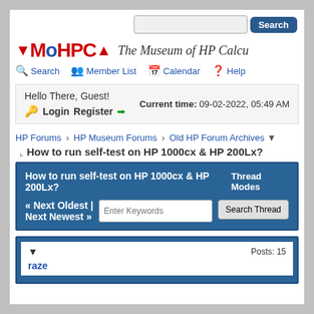Search | MoHPCA - The Museum of HP Calculators | Search | Member List | Calendar | Help
Hello There, Guest! Current time: 09-02-2022, 05:49 AM Login Register
HP Forums › HP Museum Forums › Old HP Forum Archives
How to run self-test on HP 1000cx & HP 200Lx?
How to run self-test on HP 1000cx & HP 200Lx? Thread Modes
« Next Oldest | Next Newest » Enter Keywords Search Thread
raze  Posts: 15